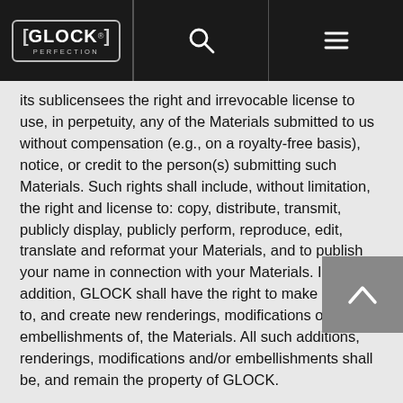GLOCK PERFECTION logo with search and menu icons
its sublicensees the right and irrevocable license to use, in perpetuity, any of the Materials submitted to us without compensation (e.g., on a royalty-free basis), notice, or credit to the person(s) submitting such Materials. Such rights shall include, without limitation, the right and license to: copy, distribute, transmit, publicly display, publicly perform, reproduce, edit, translate and reformat your Materials, and to publish your name in connection with your Materials. In addition, GLOCK shall have the right to make additions to, and create new renderings, modifications or embellishments of, the Materials. All such additions, renderings, modifications and/or embellishments shall be, and remain the property of GLOCK.
GLOCK is under no obligation to use any Materials you provide and may remove any Materials from its